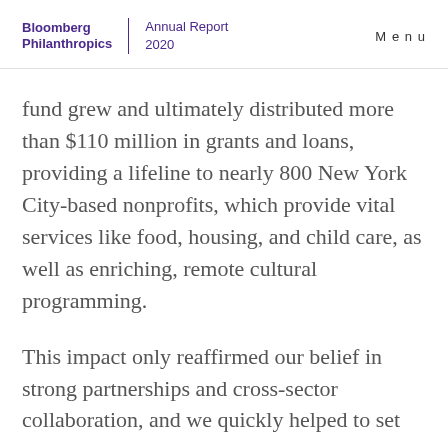Bloomberg Philanthropies | Annual Report 2020   Menu
fund grew and ultimately distributed more than $110 million in grants and loans, providing a lifeline to nearly 800 New York City-based nonprofits, which provide vital services like food, housing, and child care, as well as enriching, remote cultural programming.
This impact only reaffirmed our belief in strong partnerships and cross-sector collaboration, and we quickly helped to set